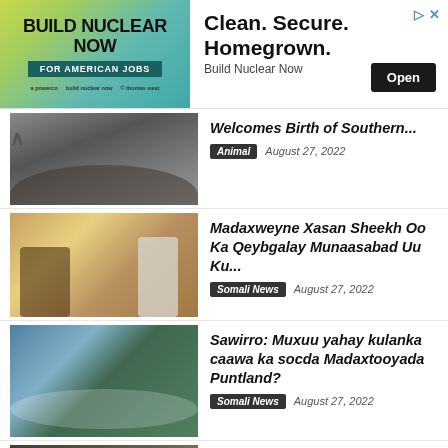[Figure (other): Advertisement banner: BUILD NUCLEAR NOW FOR AMERICAN JOBS with Clean. Secure. Homegrown. headline and Open button]
[Figure (photo): Rhino animal photo - partially cropped]
Welcomes Birth of Southern...
Animal  August 27, 2022
[Figure (photo): Two men sitting in chairs at a formal meeting]
Madaxweyne Xasan Sheekh Oo Ka Qeybgalay Munaasabad Uu Ku...
Somali News  August 27, 2022
[Figure (photo): People sitting around a dinner table at night meeting]
Sawirro: Muxuu yahay kulanka caawa ka socda Madaxtooyada Puntland?
Somali News  August 27, 2022
[Figure (photo): Sea lion pup close-up photo]
Zoo Vienna Welcomes South American Sea Lion Pup
Animal  August 27, 2022